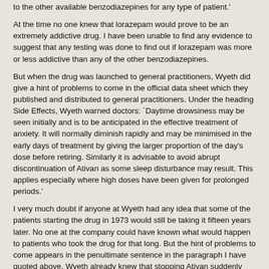to the other available benzodiazepines for any type of patient.'
At the time no one knew that lorazepam would prove to be an extremely addictive drug. I have been unable to find any evidence to suggest that any testing was done to find out if lorazepam was more or less addictive than any of the other benzodiazepines.
But when the drug was launched to general practitioners, Wyeth did give a hint of problems to come in the official data sheet which they published and distributed to general practitioners. Under the heading Side Effects, Wyeth warned doctors: `Daytime drowsiness may be seen initially and is to be anticipated in the effective treatment of anxiety. It will normally diminish rapidly and may be minimised in the early days of treatment by giving the larger proportion of the day's dose before retiring. Similarly it is advisable to avoid abrupt discontinuation of Ativan as some sleep disturbance may result. This applies especially where high doses have been given for prolonged periods.'
I very much doubt if anyone at Wyeth had any idea that some of the patients starting the drug in 1973 would still be taking it fifteen years later. No one at the company could have known what would happen to patients who took the drug for that long. But the hint of problems to come appears in the penultimate sentence in the paragraph I have quoted above. Wyeth already knew that stopping Ativan suddenly could lead to problems.
Other side effects of which Wyeth warned doctors in 1973 included: occasional confusion, hangover, headache on waking, drowsiness or dizziness, blurred vision and nausea.